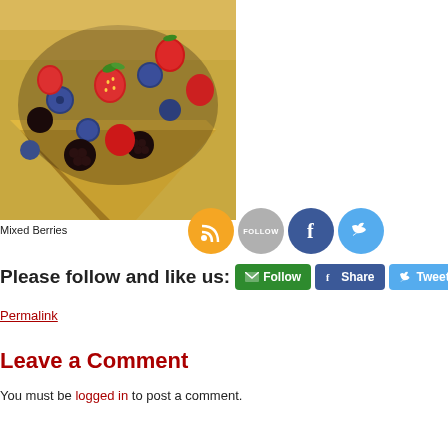[Figure (photo): Photo of mixed berries (strawberries, blackberries, blueberries, raspberries) in a gold/yellow square container, close-up overhead view]
Mixed Berries
[Figure (infographic): Social sharing icons row: RSS orange circle, Follow gray circle, Facebook blue circle, Twitter light blue circle]
Please follow and like us:
[Figure (infographic): Social sharing buttons: green Email Follow button, blue Facebook Share button, blue Tweet button, red Pinterest button]
Permalink
Leave a Comment
You must be logged in to post a comment.